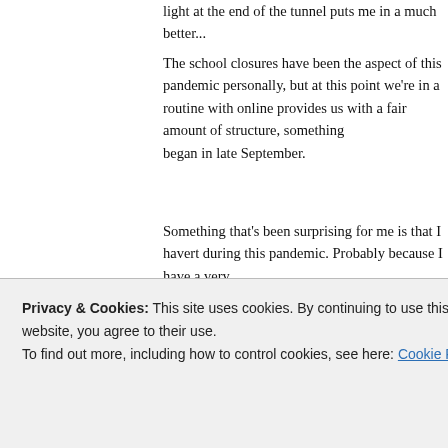light at the end of the tunnel puts me in a much better...
The school closures have been the aspect of this pandemic personally, but at this point we're in a routine with online learning that provides us with a fair amount of structure, something began in late September.
Something that's been surprising for me is that I haven't during this pandemic. Probably because I have a very chatty, my children literally will not stop talking. I also s and-forth (which is a necessity for my survival). But I'm just through occasional texts, phone calls, zooms, and
Maybe another way to look at it is, I was already used people are experiencing some form of isolation, so I'm Either way though, quarantine doesn't have to be a connection with others just through a simple phone ca
Since my firstborn was a few months old, getting out o
Privacy & Cookies: This site uses cookies. By continuing to use this website, you agree to their use.
To find out more, including how to control cookies, see here: Cookie Policy
Close and accept